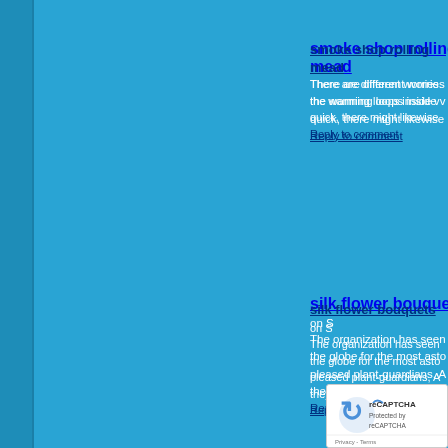smoke shop rolling mead...
There are different worries... the warming loops inside v... quick, there might likewise...
Reply to comment
silk flower bouquets on S...
The organization has seen ... the globe for the most asto... pleased plant-guardians, A... they make plan simple, all...
Reply to comment
sims 4 update on Friday, O...
Took me time to read all th... Sims 4 Digital Deluxe, Dir... library ..
Reply to comment
voyance audiotel on ...
If I were the ... writer and yo...
Reply to com...